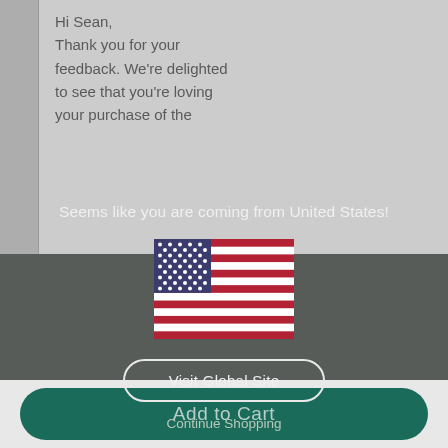Hi Sean,
Thank you for your feedback. We're delighted to see that you're loving your purchase of the
Seems like you are coming from United States!
[Figure (illustration): US flag emoji/illustration centered in the modal overlay]
Visit Global Site
Continue Shopping
love is
0   0
Add to Cart